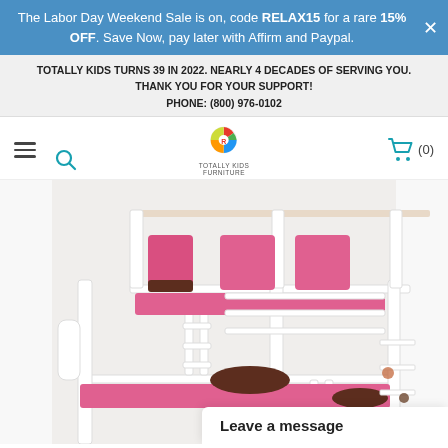The Labor Day Weekend Sale is on, code RELAX15 for a rare 15% OFF. Save Now, pay later with Affirm and Paypal.
TOTALLY KIDS TURNS 39 IN 2022. NEARLY 4 DECADES OF SERVING YOU. THANK YOU FOR YOUR SUPPORT! PHONE: (800) 976-0102
[Figure (logo): Totally Kids Furniture logo with colorful circular icon]
[Figure (photo): White wooden bunk bed with pink mattresses and dark brown bolster pillows]
Leave a message